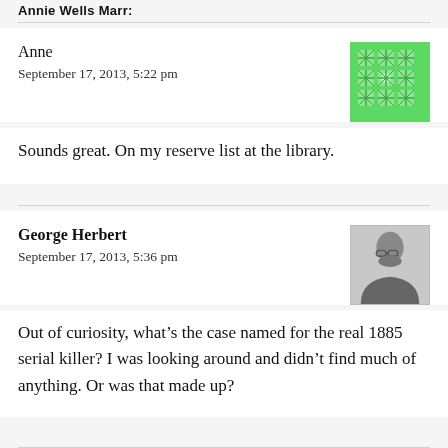Annie Wells Marr:
Anne
September 17, 2013, 5:22 pm
Sounds great. On my reserve list at the library.
George Herbert
September 17, 2013, 5:36 pm
Out of curiosity, what’s the case named for the real 1885 serial killer? I was looking around and didn’t find much of anything. Or was that made up?